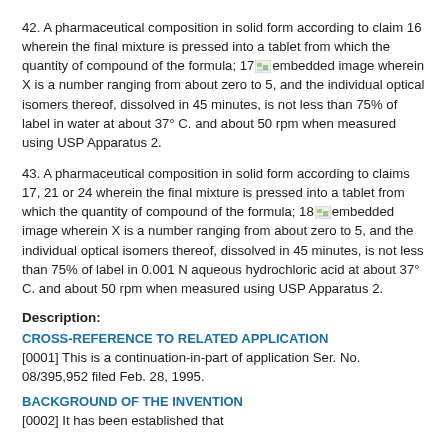42. A pharmaceutical composition in solid form according to claim 16 wherein the final mixture is pressed into a tablet from which the quantity of compound of the formula; 17 [embedded image] wherein X is a number ranging from about zero to 5, and the individual optical isomers thereof, dissolved in 45 minutes, is not less than 75% of label in water at about 37° C. and about 50 rpm when measured using USP Apparatus 2.
43. A pharmaceutical composition in solid form according to claims 17, 21 or 24 wherein the final mixture is pressed into a tablet from which the quantity of compound of the formula; 18 [embedded image] wherein X is a number ranging from about zero to 5, and the individual optical isomers thereof, dissolved in 45 minutes, is not less than 75% of label in 0.001 N aqueous hydrochloric acid at about 37° C. and about 50 rpm when measured using USP Apparatus 2.
Description:
CROSS-REFERENCE TO RELATED APPLICATION
[0001] This is a continuation-in-part of application Ser. No. 08/395,952 filed Feb. 28, 1995.
BACKGROUND OF THE INVENTION
[0002] It has been established that...